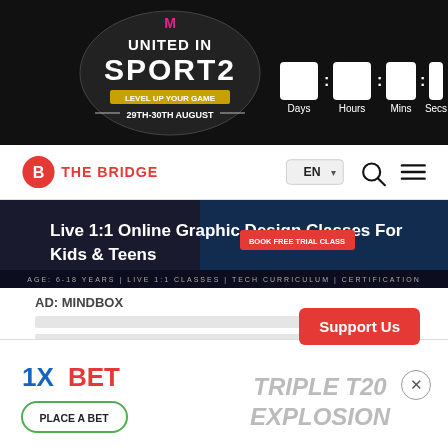[Figure (logo): United in Sports banner with 'Level Up Your Game' tagline, 29th-30th August, countdown boxes showing Days, Hours, Mins, Secs on dark background]
[Figure (logo): The Bridge logo with red B icon and navigation bar including EN language selector, search icon, and hamburger menu]
[Figure (screenshot): Advertisement banner: Live 1:1 Online Graphic Design Classes For Kids & Teens with Book Free Trial Class button]
AD: MINDBOX
[Figure (screenshot): Support Us red button overlay on content area]
[Figure (screenshot): 1XBET advertisement: Triple T20 Explosion with Place A Bet button, close X button in top right]